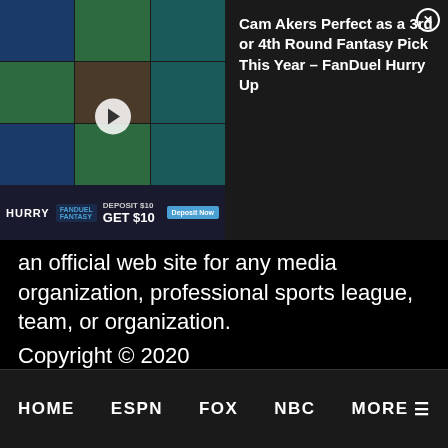[Figure (screenshot): FanDuel fantasy sports advertisement video thumbnail with a man in a black cap, with a FanDuel banner at the bottom reading DEPOSIT $10 GET $10]
Cam Akers Perfect as a 3rd or 4th Round Fantasy Pick This Year – FanDuel Hurry Up
an official web site for any media organization, professional sports league, team, or organization.
Copyright © 2020 www.AwfulAnnouncing.com - All Rights Reserved - Trademarks used herein are property of their respective owners.
HOME   ESPN   FOX   NBC   MORE